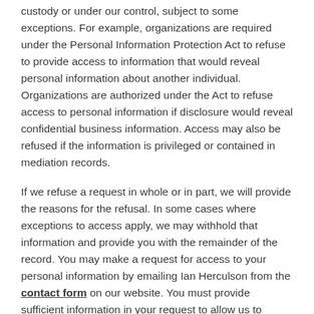custody or under our control, subject to some exceptions. For example, organizations are required under the Personal Information Protection Act to refuse to provide access to information that would reveal personal information about another individual. Organizations are authorized under the Act to refuse access to personal information if disclosure would reveal confidential business information. Access may also be refused if the information is privileged or contained in mediation records.
If we refuse a request in whole or in part, we will provide the reasons for the refusal. In some cases where exceptions to access apply, we may withhold that information and provide you with the remainder of the record. You may make a request for access to your personal information by emailing Ian Herculson from the contact form on our website. You must provide sufficient information in your request to allow us to identify the information you are seeking.
You may also request information about our use of your personal information and any disclosure of that information to persons outside our organization. For personal information